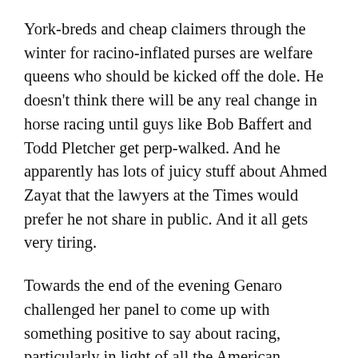York-breds and cheap claimers through the winter for racino-inflated purses are welfare queens who should be kicked off the dole. He doesn't think there will be any real change in horse racing until guys like Bob Baffert and Todd Pletcher get perp-walked. And he apparently has lots of juicy stuff about Ahmed Zayat that the lawyers at the Times would prefer he not share in public. And it all gets very tiring.
Towards the end of the evening Genaro challenged her panel to come up with something positive to say about racing, particularly in light of all the American Pharoah hullabaloo. The panel was stumped. They either couldn't, or wouldn't, throw a positive bone and make for a happy ending. Genaro called them on it. How, she asked, can you do it? How do you keep wallowing in this muck if it is all so distasteful? Drape allowed that he had endured quite enough of the hay, oats and water diet, and seemed to be earnestly considering taking